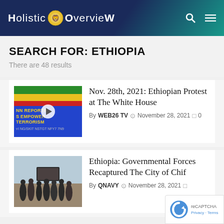Holistic Overview
SEARCH FOR: ETHIOPIA
There are 48 results
[Figure (photo): Protest banner with Ethiopian flag colors reading 'NN REPORTING IS EMPOWERING TERRORISM' in yellow text on blue background, with Amharic text below]
Nov. 28th, 2021: Ethiopian Protest at The White House
By WEB26 TV  November 28, 2021  0
[Figure (photo): Group of people standing outdoors near a sign, dry landscape in background]
Ethiopia: Governmental Forces Recaptured The City of Chif
By QNAVY  November 28, 2021